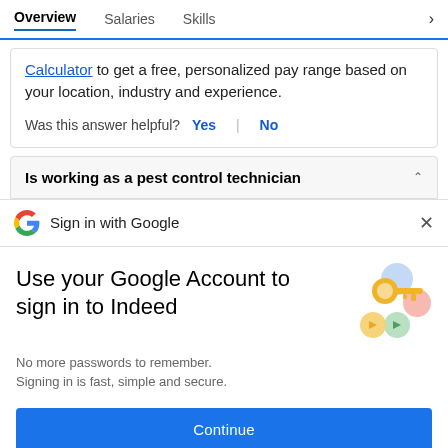Overview  Salaries  Skills
Calculator to get a free, personalized pay range based on your location, industry and experience.
Was this answer helpful?  Yes  |  No
Is working as a pest control technician
Sign in with Google
Use your Google Account to sign in to Indeed
No more passwords to remember. Signing in is fast, simple and secure.
Continue